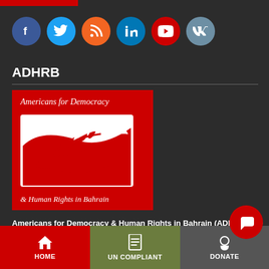[Figure (other): Red bar at top of page]
[Figure (other): Social media icons row: Facebook (blue circle), Twitter (light blue circle), RSS (orange circle), LinkedIn (blue circle), YouTube (red circle), VK (grey-blue circle)]
ADHRB
[Figure (logo): Americans for Democracy & Human Rights in Bahrain logo: red background with white dove/hand holding olive branch graphic, text 'Americans for Democracy' at top and '& Human Rights in Bahrain' at bottom in white italic font]
Americans for Democracy & Human Rights in Bahrain (ADHRB) |PO Box 65202 | Washington, D.C. 20035
ADHRB | For media inquiries and interview requests, please contact
[Figure (other): Bottom navigation bar with three tabs: HOME (red, house icon), UN COMPLIANT (olive green, document icon), DONATE (grey, hand icon). Red floating action button overlapping DONATE tab.]